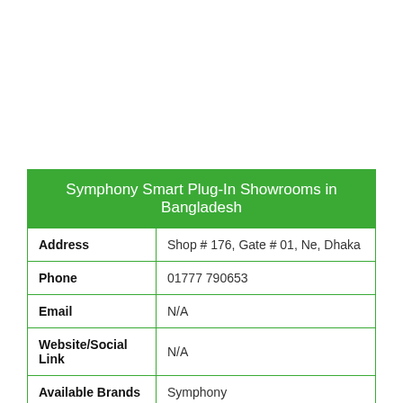| Field | Value |
| --- | --- |
| Address | Shop # 176, Gate # 01, Ne, Dhaka |
| Phone | 01777 790653 |
| Email | N/A |
| Website/Social Link | N/A |
| Available Brands | Symphony |